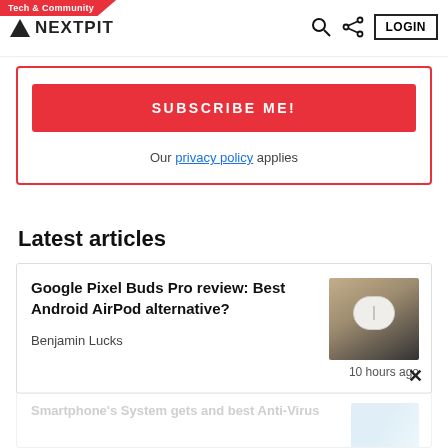Tech & Community | NEXTPIT | LOGIN
SUBSCRIBE ME!
Our privacy policy applies
Latest articles
Google Pixel Buds Pro review: Best Android AirPod alternative?
Benjamin Lucks
10 hours ago